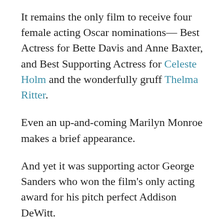It remains the only film to receive four female acting Oscar nominations— Best Actress for Bette Davis and Anne Baxter, and Best Supporting Actress for Celeste Holm and the wonderfully gruff Thelma Ritter.
Even an up-and-coming Marilyn Monroe makes a brief appearance.
And yet it was supporting actor George Sanders who won the film's only acting award for his pitch perfect Addison DeWitt.
To top it off, the legendary Edith Head dressed them all.  She won her third of an eventual eight Oscars for costume design.  There's not a great actress from that era that Head didn't dress.